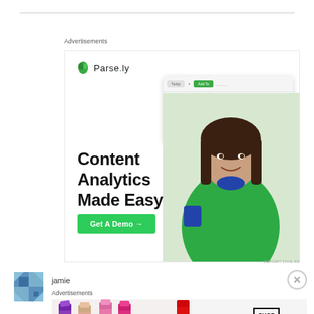Advertisements
[Figure (screenshot): Parse.ly advertisement banner featuring the Parse.ly logo, a dashboard analytics screenshot showing a line chart, a smiling woman in a green sweater, bold text reading 'Content Analytics Made Easy', and a green 'Get A Demo →' button]
REPORT THIS AD
[Figure (photo): User avatar with a blue geometric pattern]
jamie
Advertisements
[Figure (photo): MAC cosmetics advertisement showing colorful lipsticks on the left and the MAC logo with a 'SHOP NOW' box on the right]
REPORT THIS AD